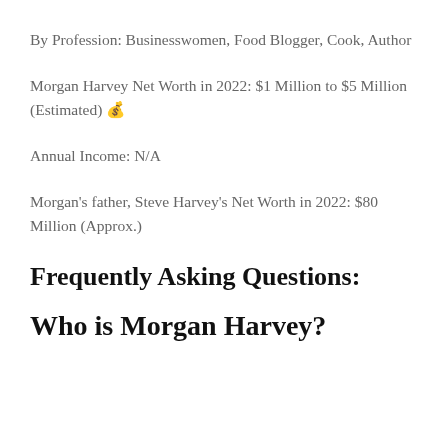By Profession: Businesswomen, Food Blogger, Cook, Author
Morgan Harvey Net Worth in 2022: $1 Million to $5 Million (Estimated) 💰
Annual Income: N/A
Morgan's father, Steve Harvey's Net Worth in 2022: $80 Million (Approx.)
Frequently Asking Questions:
Who is Morgan Harvey?